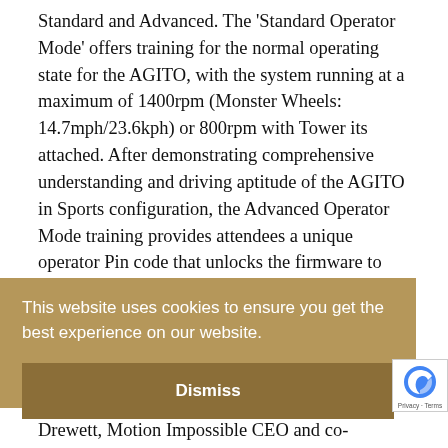Standard and Advanced. The 'Standard Operator Mode' offers training for the normal operating state for the AGITO, with the system running at a maximum of 1400rpm (Monster Wheels: 14.7mph/23.6kph) or 800rpm with Tower its attached. After demonstrating comprehensive understanding and driving aptitude of the AGITO in Sports configuration, the Advanced Operator Mode training provides attendees a unique operator Pin code that unlocks the firmware to 2500rpm
[Figure (screenshot): Cookie consent banner overlay with tan/gold background reading 'This website uses cookies to ensure you get the best experience on our website.' with a Dismiss button below.]
Drewett, Motion Impossible CEO and co-